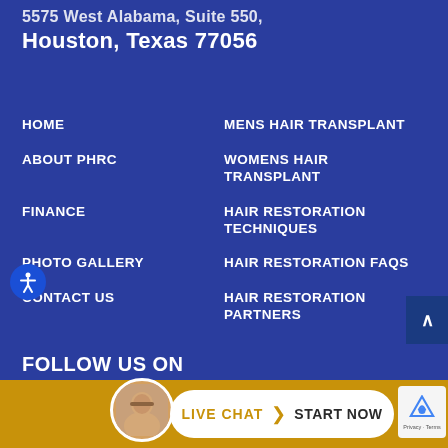5575 West Alabama, Suite 550,
Houston, Texas 77056
HOME
MENS HAIR TRANSPLANT
ABOUT PHRC
WOMENS HAIR TRANSPLANT
FINANCE
HAIR RESTORATION TECHNIQUES
PHOTO GALLERY
HAIR RESTORATION FAQS
CONTACT US
HAIR RESTORATION PARTNERS
FOLLOW US ON
LIVE CHAT  START NOW